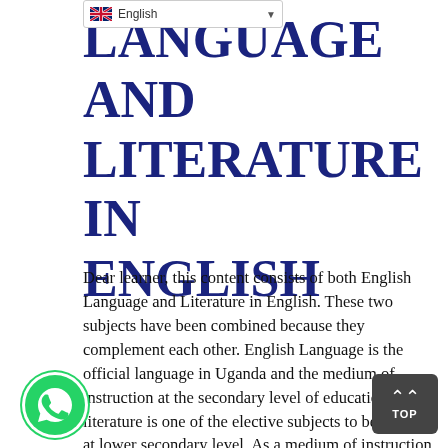English
LANGUAGE AND LITERATURE IN ENGLISH
Dear learner, this content consists of both English Language and Literature in English. These two subjects have been combined because they complement each other. English Language is the official language in Uganda and the medium of instruction at the secondary level of education while literature is one of the elective subjects to be offered at lower secondary level. As a medium of instruction, English language is used to learn all other subjects therefore it is very important to you. On the other hand, Literature in English helps you to develop your literacy skills of